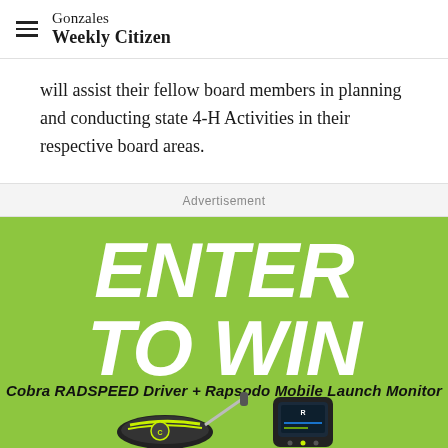Gonzales Weekly Citizen
will assist their fellow board members in planning and conducting state 4-H Activities in their respective board areas.
Advertisement
[Figure (illustration): Green advertisement banner reading 'ENTER TO WIN' in large white bold italic text, with subtext 'Cobra RADSPEED Driver + Rapsodo Mobile Launch Monitor' and product images of a golf driver and a mobile launch monitor device at the bottom.]